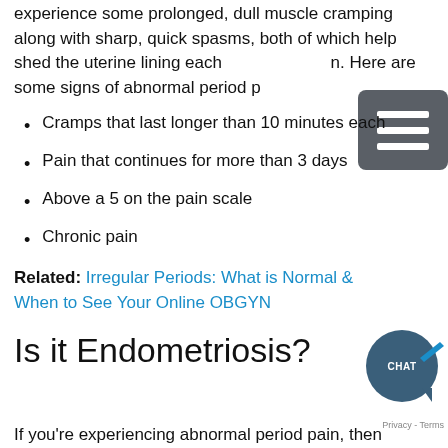experience some prolonged, dull muscle cramping along with sharp, quick spasms, both of which help shed the uterine lining each month. Here are some signs of abnormal period pain:
Cramps that last longer than 10 minutes each
Pain that continues for more than 3 days
Above a 5 on the pain scale
Chronic pain
Related: Irregular Periods: What is Normal & When to See Your Online OBGYN
Is it Endometriosis?
If you're experiencing abnormal period pain, then